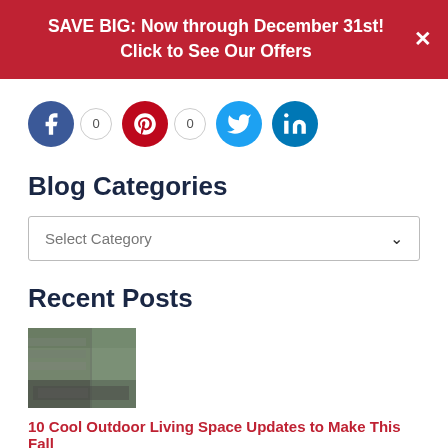SAVE BIG: Now through December 31st! Click to See Our Offers
[Figure (infographic): Social media sharing buttons row: Facebook icon with count 0, Pinterest icon with count 0, Twitter icon, LinkedIn icon]
Blog Categories
Select Category
Recent Posts
[Figure (photo): Thumbnail photo of a modern outdoor living space room with large windows and a stone wall]
10 Cool Outdoor Living Space Updates to Make This Fall